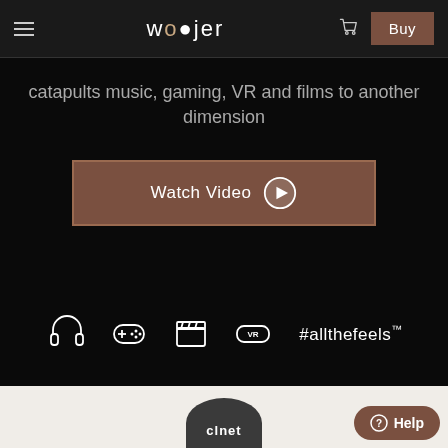woojer — Buy
catapults music, gaming, VR and films to another dimension
[Figure (other): Brown 'Watch Video' button with play icon]
#allthefeels™
[Figure (logo): CNET circular logo partially visible at bottom]
Help